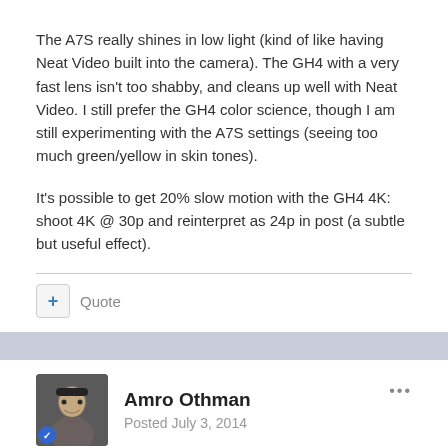The A7S really shines in low light (kind of like having Neat Video built into the camera). The GH4 with a very fast lens isn't too shabby, and cleans up well with Neat Video. I still prefer the GH4 color science, though I am still experimenting with the A7S settings (seeing too much green/yellow in skin tones).
It's possible to get 20% slow motion with the GH4 4K: shoot 4K @ 30p and reinterpret as 24p in post (a subtle but useful effect).
Quote
Amro Othman
Posted July 3, 2014
I think it's something Sony should really work on- the green/yellow in skin tones. I think that's a major reason why many use